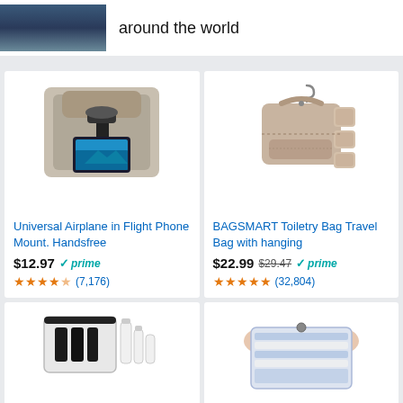around the world
[Figure (photo): Photo of a coastal town with buildings and water]
[Figure (photo): Product photo of Universal Airplane in Flight Phone Mount attached to airplane seat headrest]
Universal Airplane in Flight Phone Mount. Handsfree
$12.97 prime ★★★★☆ (7,176)
[Figure (photo): Product photo of BAGSMART Toiletry Bag Travel Bag with hanging hooks, pink/beige color]
BAGSMART Toiletry Bag Travel Bag with hanging
$22.99 $29.47 prime ★★★★★ (32,804)
[Figure (photo): Product photo of TSA approved clear toiletry bag set with bottles]
[Figure (photo): Product photo of vacuum compression storage bags with striped clothing being compressed]